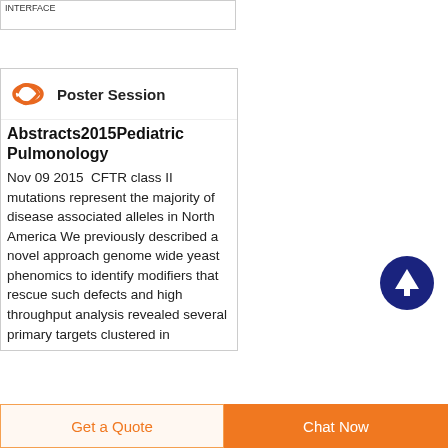INTERFACE
[Figure (screenshot): Card with logo and Poster Session header, followed by document title Abstracts2015PediatricPulmonology and abstract text beginning Nov 09 2015 CFTR class II mutations represent the majority of disease associated alleles in North America We previously described a novel approach genome wide yeast phenomics to identify modifiers that rescue such defects and high throughput analysis revealed several primary targets clustered in]
[Figure (illustration): Dark blue circular scroll-to-top button with white upward arrow]
Get a Quote
Chat Now